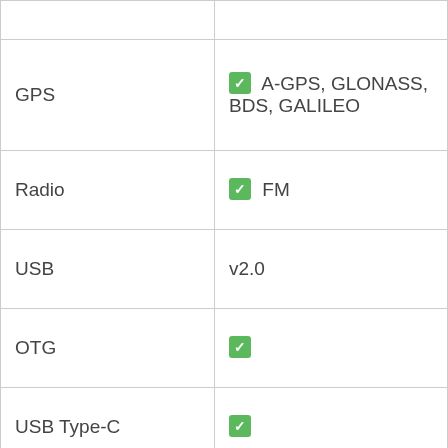| Feature | Value |
| --- | --- |
|  |  |
| GPS | ✓ A-GPS, GLONASS, BDS, GALILEO |
| Radio | ✓ FM |
| USB | v2.0 |
| OTG | ✓ |
| USB Type-C | ✓ |
| NFC | ✓ (market dependent) |
| Infrared | ✓ |
| Body |  |
| Style | Punch-hole |
|  | Gorilla Glass 5 front & |